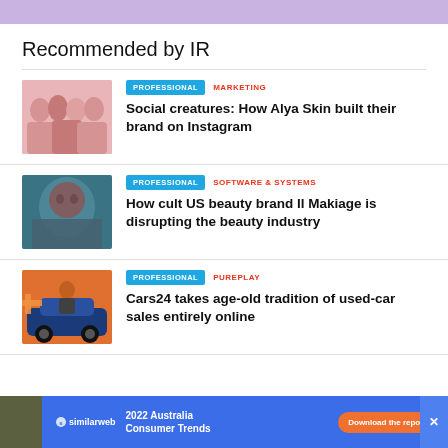[Figure (illustration): Purple/lavender banner strip at top of page]
Recommended by IR
[Figure (photo): Group of young people posing together with pink background]
PROFESSIONAL | MARKETING — Social creatures: How Alya Skin built their brand on Instagram
[Figure (photo): Woman with dramatic makeup lying down, blue/teal background]
PROFESSIONAL | SOFTWARE & SYSTEMS — How cult US beauty brand Il Makiage is disrupting the beauty industry
[Figure (photo): Man standing in front of a blue car with orange decorations]
PROFESSIONAL | PUREPLAY — Cars24 takes age-old tradition of used-car sales entirely online
[Figure (screenshot): Similarweb ad banner: 2022 Australia Consumer Trends — Download the report]